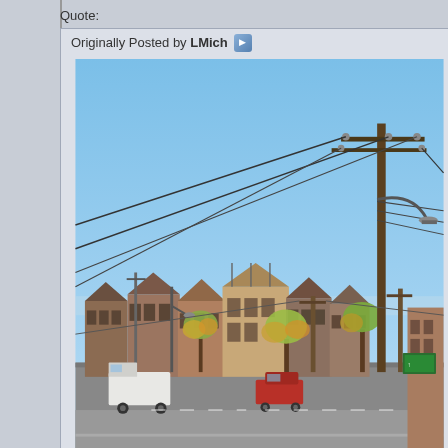Quote:
Originally Posted by LMich
[Figure (photo): Street-level photograph of a suburban/urban neighborhood with brick townhouses and residential buildings in the background, utility poles with power lines and a street lamp in the foreground, trees with autumn foliage, a green highway sign visible at right, and a clear blue sky. A white truck and a red vehicle are parked on the street.]